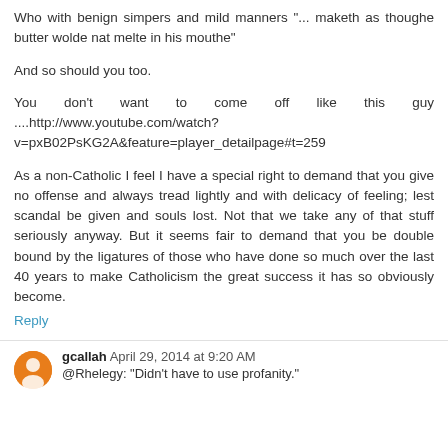Who with benign simpers and mild manners "... maketh as thoughe butter wolde nat melte in his mouthe"
And so should you too.
You don't want to come off like this guy ....http://www.youtube.com/watch?v=pxB02PsKG2A&feature=player_detailpage#t=259
As a non-Catholic I feel I have a special right to demand that you give no offense and always tread lightly and with delicacy of feeling; lest scandal be given and souls lost. Not that we take any of that stuff seriously anyway. But it seems fair to demand that you be double bound by the ligatures of those who have done so much over the last 40 years to make Catholicism the great success it has so obviously become.
Reply
gcallah April 29, 2014 at 9:20 AM
@Rhelegy: "Didn't have to use profanity."